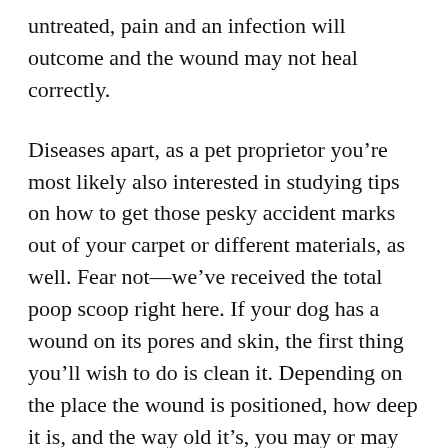untreated, pain and an infection will outcome and the wound may not heal correctly.
Diseases apart, as a pet proprietor you're most likely also interested in studying tips on how to get those pesky accident marks out of your carpet or different materials, as well. Fear not—we've received the total poop scoop right here. If your dog has a wound on its pores and skin, the first thing you'll wish to do is clean it. Depending on the place the wound is positioned, how deep it is, and the way old it's, you may or may not need the entire following supplies.